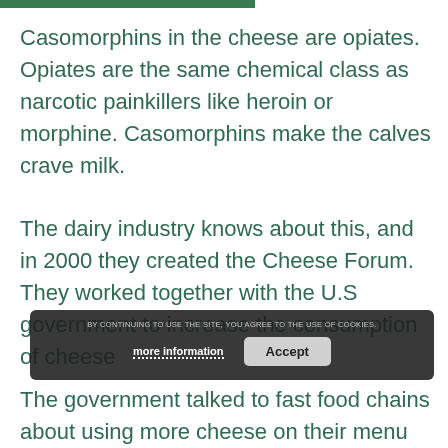Casomorphins in the cheese are opiates. Opiates are the same chemical class as narcotic painkillers like heroin or morphine. Casomorphins make the calves crave milk.

The dairy industry knows about this, and in 2000 they created the Cheese Forum. They worked together with the U.S government to increase the consumption of cheese
The government talked to fast food chains about using more cheese on their menu